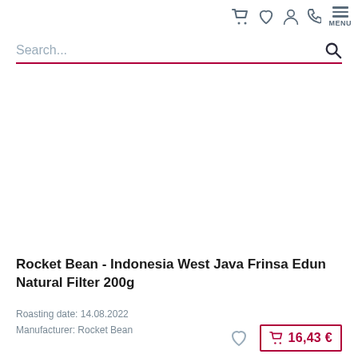Search...
[Figure (other): Blank product image area]
Rocket Bean - Indonesia West Java Frinsa Edun Natural Filter 200g
Roasting date: 14.08.2022
Manufacturer: Rocket Bean